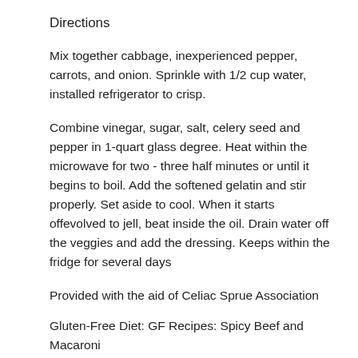Directions
Mix together cabbage, inexperienced pepper, carrots, and onion. Sprinkle with 1/2 cup water, installed refrigerator to crisp.
Combine vinegar, sugar, salt, celery seed and pepper in 1-quart glass degree. Heat within the microwave for two - three half minutes or until it begins to boil. Add the softened gelatin and stir properly. Set aside to cool. When it starts offevolved to jell, beat inside the oil. Drain water off the veggies and add the dressing. Keeps within the fridge for several days
Provided with the aid of Celiac Sprue Association
Gluten-Free Diet: GF Recipes: Spicy Beef and Macaroni